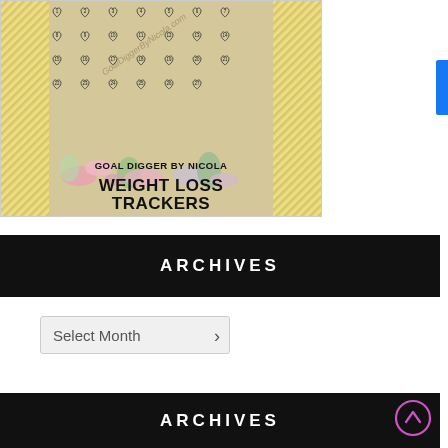[Figure (illustration): Product thumbnail showing Weight Loss Trackers by Goal Digger by Nicola — gold glitter border with hearts grid and floral decoration]
ARCHIVES
Select Month
ARCHIVES